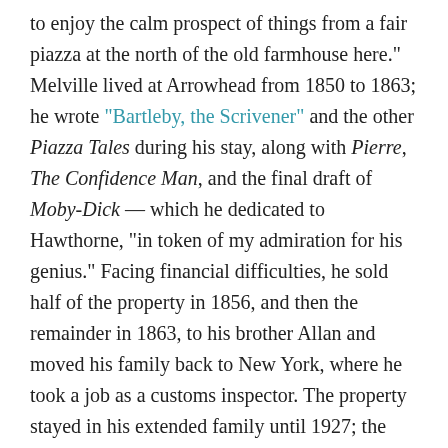to enjoy the calm prospect of things from a fair piazza at the north of the old farmhouse here." Melville lived at Arrowhead from 1850 to 1863; he wrote "Bartleby, the Scrivener" and the other Piazza Tales during his stay, along with Pierre, The Confidence Man, and the final draft of Moby-Dick — which he dedicated to Hawthorne, "in token of my admiration for his genius." Facing financial difficulties, he sold half of the property in 1856, and then the remainder in 1863, to his brother Allan and moved his family back to New York, where he took a job as a customs inspector. The property stayed in his extended family until 1927; the Berkshire County Historical Society